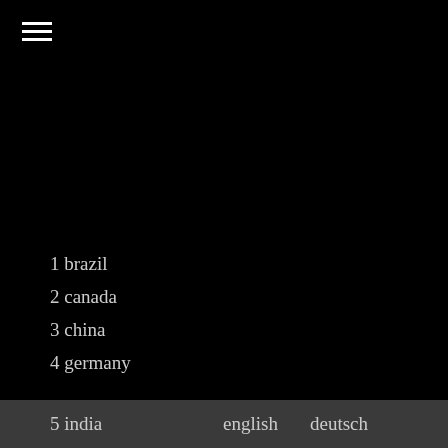[Figure (other): Hamburger menu icon (three horizontal white lines) in the top-left corner on a black background]
1 brazil
2 canada
3 china
4 germany
5 india
english   deutsch